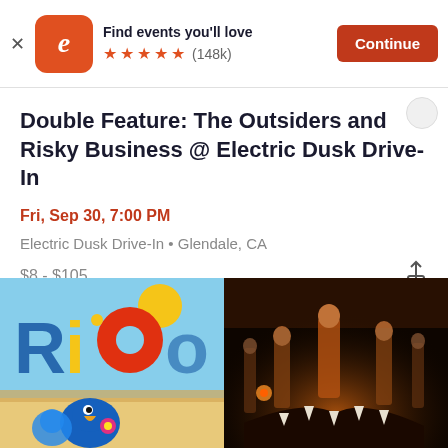[Figure (screenshot): Eventbrite app banner with logo, 'Find events you'll love', 5-star rating (148k), and Continue button]
Double Feature: The Outsiders and Risky Business @ Electric Dusk Drive-In
Fri, Sep 30, 7:00 PM
Electric Dusk Drive-In • Glendale, CA
$8 - $105
[Figure (photo): Movie poster for Rio animated film on the left, and a Jurassic World movie poster on the right]
[Figure (photo): Jurassic World movie poster with characters on dark background on the right side]